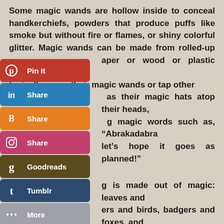Some magic wands are hollow inside to conceal handkerchiefs, powders that produce puffs like smoke but without fire or flames, or shiny colorful glitter. Magic wands can be made from rolled-up paper or wood or plastic sticks. Magicians typically wave their magic wands or tap other objects as their magic hats atop their heads, uttering magic words such as, "Abrakadabra" and let's hope it goes as planned!"

...is made out of magic: leaves and flowers and birds, badgers and foxes, and squirrels and people. So it must be all around us. In this garden - in all the places." -Frances Hodgson Burnett (1849 - 1924): "The Secret Garden" (1911)
[Figure (infographic): Social media sharing buttons panel showing Pinterest (Pin It), LinkedIn (Share), Blogger (Share), Instagram (Share), Goodreads, Tumblr, and More buttons stacked vertically on the left side of the page.]